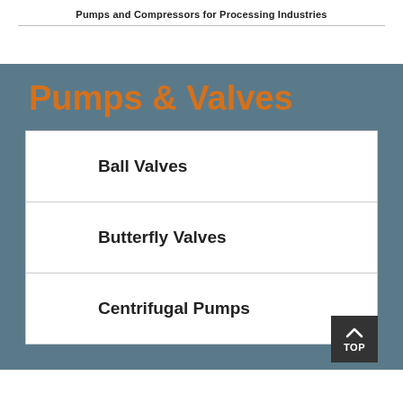Pumps and Compressors for Processing Industries
Pumps & Valves
Ball Valves
Butterfly Valves
Centrifugal Pumps